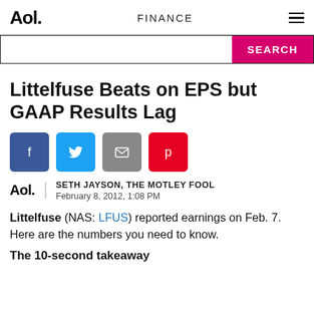Aol.  FINANCE
Littelfuse Beats on EPS but GAAP Results Lag
[Figure (other): Social sharing icons: Facebook, Twitter, Email, Pinterest]
SETH JAYSON, THE MOTLEY FOOL
February 8, 2012, 1:08 PM
Littelfuse (NAS: LFUS) reported earnings on Feb. 7. Here are the numbers you need to know.
The 10-second takeaway